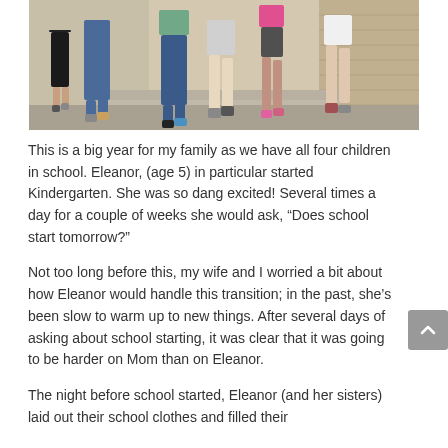[Figure (photo): A group of children walking together, shown from the waist down, wearing jeans, shorts, and colorful shoes, walking on pavement near steps]
This is a big year for my family as we have all four children in school. Eleanor, (age 5) in particular started Kindergarten. She was so dang excited! Several times a day for a couple of weeks she would ask, “Does school start tomorrow?”
Not too long before this, my wife and I worried a bit about how Eleanor would handle this transition; in the past, she’s been slow to warm up to new things. After several days of asking about school starting, it was clear that it was going to be harder on Mom than on Eleanor.
The night before school started, Eleanor (and her sisters) laid out their school clothes and filled their